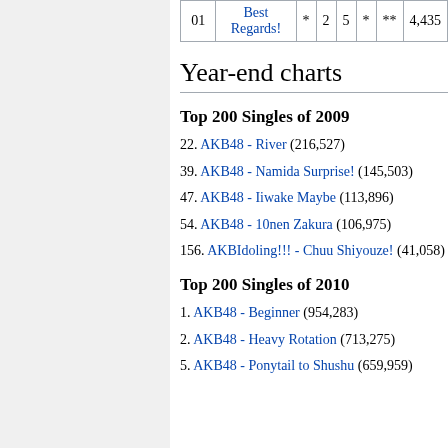|  |  | * |  |  | * | ** |  |
| --- | --- | --- | --- | --- | --- | --- | --- |
| 01 | Best Regards! | * | 2 | 5 | * | ** | 4,435 |
Year-end charts
Top 200 Singles of 2009
22. AKB48 - River (216,527)
39. AKB48 - Namida Surprise! (145,503)
47. AKB48 - Iiwake Maybe (113,896)
54. AKB48 - 10nen Zakura (106,975)
156. AKBIdoling!!! - Chuu Shiyouze! (41,058)
Top 200 Singles of 2010
1. AKB48 - Beginner (954,283)
2. AKB48 - Heavy Rotation (713,275)
5. AKB48 - Ponytail to Shushu (659,959)